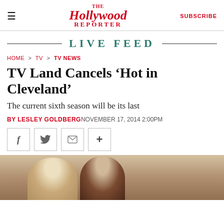The Hollywood Reporter — SUBSCRIBE
LIVE FEED
HOME > TV > TV NEWS
TV Land Cancels ‘Hot in Cleveland’
The current sixth season will be its last
BY LESLEY GOLDBERG NOVEMBER 17, 2014 2:00PM
[Figure (screenshot): Social sharing buttons: Facebook, Twitter, Email, and plus/more button]
[Figure (photo): Photo of two women from the TV show Hot in Cleveland, one blonde and one with dark hair, both smiling]